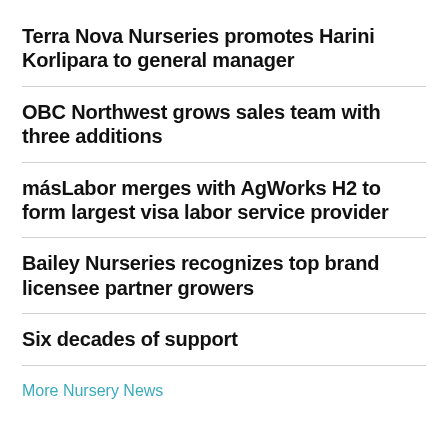Terra Nova Nurseries promotes Harini Korlipara to general manager
OBC Northwest grows sales team with three additions
másLabor merges with AgWorks H2 to form largest visa labor service provider
Bailey Nurseries recognizes top brand licensee partner growers
Six decades of support
More Nursery News